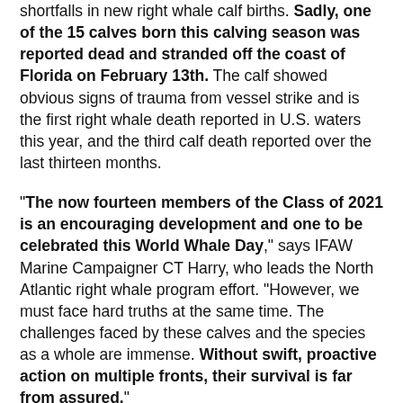shortfalls in new right whale calf births. Sadly, one of the 15 calves born this calving season was reported dead and stranded off the coast of Florida on February 13th. The calf showed obvious signs of trauma from vessel strike and is the first right whale death reported in U.S. waters this year, and the third calf death reported over the last thirteen months.
"The now fourteen members of the Class of 2021 is an encouraging development and one to be celebrated this World Whale Day," says IFAW Marine Campaigner CT Harry, who leads the North Atlantic right whale program effort. "However, we must face hard truths at the same time. The challenges faced by these calves and the species as a whole are immense. Without swift, proactive action on multiple fronts, their survival is far from assured."
These calves, along with their mothers and respective